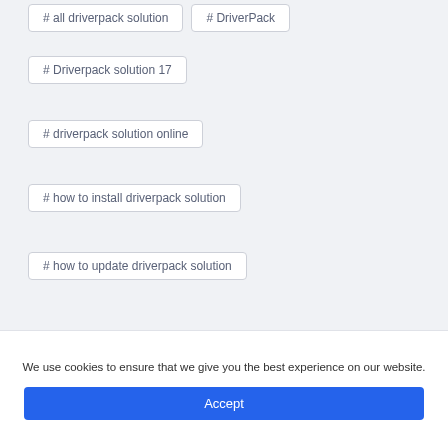# all driverpack solution
# DriverPack
# Driverpack solution 17
# driverpack solution online
# how to install driverpack solution
# how to update driverpack solution
PREVIOUS | NEXT
We use cookies to ensure that we give you the best experience on our website.
Accept